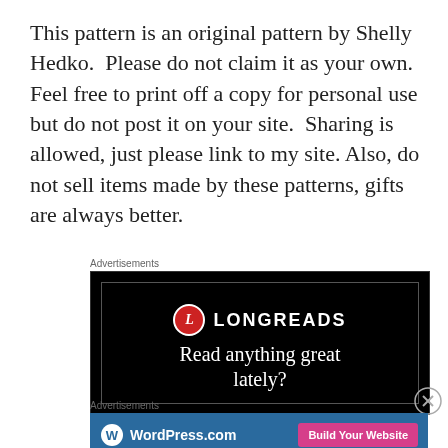This pattern is an original pattern by Shelly Hedko.  Please do not claim it as your own.  Feel free to print off a copy for personal use but do not post it on your site.  Sharing is allowed, just please link to my site. Also, do not sell items made by these patterns, gifts are always better.
Advertisements
[Figure (other): Longreads advertisement on black background with logo circle containing 'L' and text 'LONGREADS', tagline 'Read anything great lately?']
Advertisements
[Figure (other): WordPress.com advertisement on blue background with WordPress logo and 'Build Your Website' pink button]